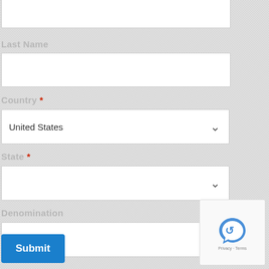Last Name
[Figure (other): Text input field for Last Name (white rectangle, empty)]
Country *
[Figure (other): Dropdown select for Country, showing 'United States' with chevron arrow]
State *
[Figure (other): Dropdown select for State (empty, with chevron arrow)]
Denomination
[Figure (other): Dropdown select for Denomination (empty, with chevron arrow)]
[Figure (other): Submit button (blue) with text 'Submit']
[Figure (other): reCAPTCHA widget with logo and 'Privacy · Terms' text]